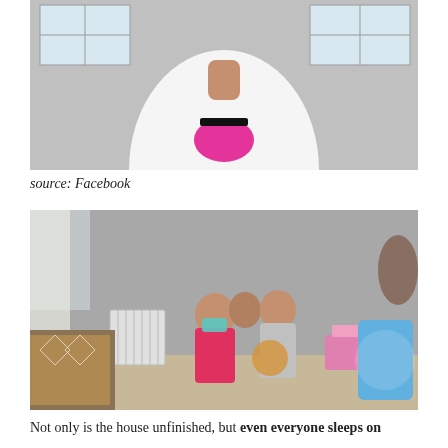[Figure (photo): Cropped photo of a child in a white t-shirt with pink graphic, standing indoors. Face is cropped out. Windows visible in background.]
source: Facebook
[Figure (photo): Three children sitting on the floor of an unfinished room with bare concrete walls. One child wears a pink jacket and face mask. A radiator, patterned blanket on a bed, stuffed animal, small pink table set, Minnie Mouse suitcase, and pile of clothes are visible.]
Not only is the house unfinished, but even everyone sleeps on